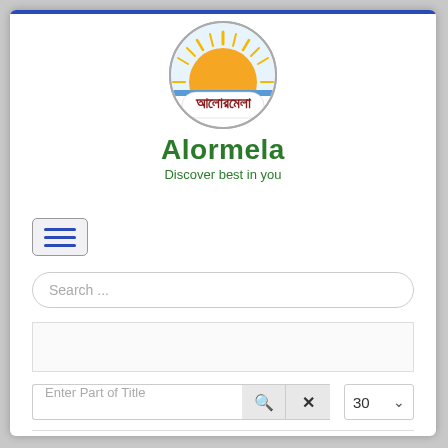[Figure (logo): Alormela logo: circular design with sun (orange/yellow rays) above horizon line over water, with Bengali text in dark red/maroon inside the circle]
Alormela
Discover best in you
[Figure (other): Hamburger menu button with three horizontal blue lines on a light gray rounded rectangle background]
Search ...
[Figure (other): Advertisement/banner placeholder box]
Enter Part of Title
Dhaka Bank Career Opportunity
The leading private commercial bank Dhaka Bank Limited has